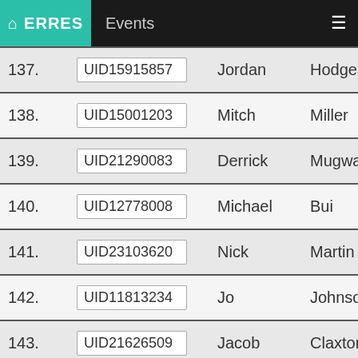ERRES | Events
| # | UID | First Name | Last Name |
| --- | --- | --- | --- |
| 137. | UID15915857 | Jordan | Hodges |
| 138. | UID15001203 | Mitch | Miller |
| 139. | UID21290083 | Derrick | Mugwaneza |
| 140. | UID12778008 | Michael | Bui |
| 141. | UID23103620 | Nick | Martin |
| 142. | UID11813234 | Jo | Johnson |
| 143. | UID21626509 | Jacob | Claxton |
| 144. | UID21618127 | Tyler | Deering |